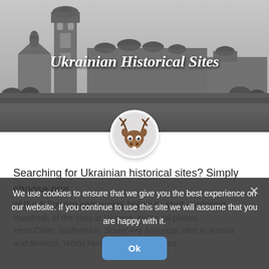[Figure (photo): Black and white historical photograph of Ukrainian city skyline with church towers and monastery buildings]
Ukrainian Historical Sites
[Figure (illustration): Cartoon moose avatar in a circular frame]
Searching for Ukrainian historical sites? Simply choose one of the following categories below to start exploring. Hundreds of the sites in Ukraine, historical places, Hero Cities, battlefields, Soviet-era historical sites in Russia and Belarus, World Heritage Historical Sites.
We use cookies to ensure that we give you the best experience on our website. If you continue to use this site we will assume that you are happy with it.